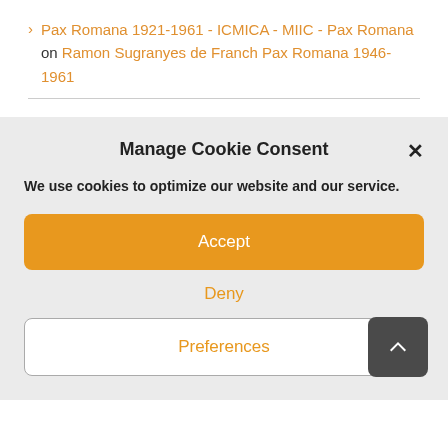> Pax Romana 1921-1961 - ICMICA - MIIC - Pax Romana on Ramon Sugranyes de Franch Pax Romana 1946-1961
Manage Cookie Consent
We use cookies to optimize our website and our service.
Accept
Deny
Preferences